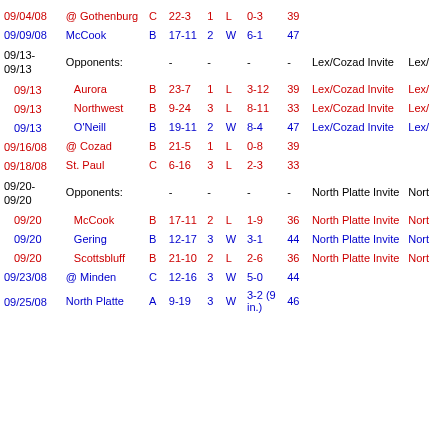| Date | Opponent | Cls | Score | Sets | W/L | Rec | Att | Event | Location |
| --- | --- | --- | --- | --- | --- | --- | --- | --- | --- |
| 09/04/08 | @ Gothenburg | C | 22-3 | 1 | L | 0-3 | 39 |  |  |
| 09/09/08 | McCook | B | 17-11 | 2 | W | 6-1 | 47 |  |  |
| 09/13-09/13 | Opponents: |  |  | - | - |  | - | - | Lex/Cozad Invite | Lex/ |
| 09/13 | Aurora | B | 23-7 | 1 | L | 3-12 | 39 | Lex/Cozad Invite | Lex/ |
| 09/13 | Northwest | B | 9-24 | 3 | L | 8-11 | 33 | Lex/Cozad Invite | Lex/ |
| 09/13 | O'Neill | B | 19-11 | 2 | W | 8-4 | 47 | Lex/Cozad Invite | Lex/ |
| 09/16/08 | @ Cozad | B | 21-5 | 1 | L | 0-8 | 39 |  |  |
| 09/18/08 | St. Paul | C | 6-16 | 3 | L | 2-3 | 33 |  |  |
| 09/20-09/20 | Opponents: |  |  | - | - |  | - | - | North Platte Invite | Nort |
| 09/20 | McCook | B | 17-11 | 2 | L | 1-9 | 36 | North Platte Invite | Nort |
| 09/20 | Gering | B | 12-17 | 3 | W | 3-1 | 44 | North Platte Invite | Nort |
| 09/20 | Scottsbluff | B | 21-10 | 2 | L | 2-6 | 36 | North Platte Invite | Nort |
| 09/23/08 | @ Minden | C | 12-16 | 3 | W | 5-0 | 44 |  |  |
| 09/25/08 | North Platte | A | 9-19 | 3 | W | 3-2 (9 in.) | 46 |  |  |